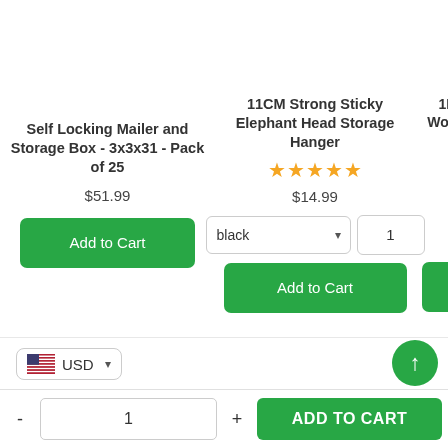Self Locking Mailer and Storage Box - 3x3x31 - Pack of 25
$51.99
Add to Cart
11CM Strong Sticky Elephant Head Storage Hanger
[Figure (other): 5 gold star rating]
$14.99
black (dropdown)
1 (quantity input)
Add to Cart
1PC Wood L (partial, clipped)
USD currency selector
- 1 + ADD TO CART